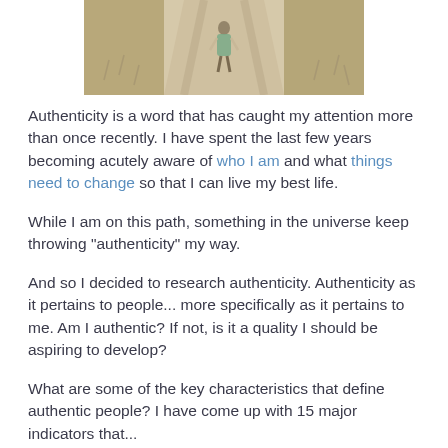[Figure (photo): A person walking on a dirt path through dry grassy fields, viewed from behind, wearing a floral dress.]
Authenticity is a word that has caught my attention more than once recently. I have spent the last few years becoming acutely aware of who I am and what things need to change so that I can live my best life.
While I am on this path, something in the universe keep throwing "authenticity" my way.
And so I decided to research authenticity. Authenticity as it pertains to people... more specifically as it pertains to me. Am I authentic? If not, is it a quality I should be aspiring to develop?
What are some of the key characteristics that define authentic people? I have come up with 15 major indicators that...